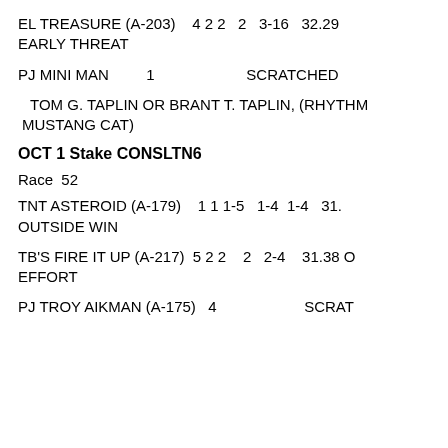EL TREASURE (A-203)    4 2 2   2   3-16   32.29
EARLY THREAT
PJ MINI MAN         1                    SCRATCHED
TOM G. TAPLIN OR BRANT T. TAPLIN, (RHYTHM MUSTANG CAT)
OCT 1 Stake CONSLTN6
Race  52
TNT ASTEROID (A-179)    1 1 1-5   1-4  1-4   31.
OUTSIDE WIN
TB'S FIRE IT UP (A-217)  5 2 2    2   2-4   31.38 O
EFFORT
PJ TROY AIKMAN (A-175)   4                    SCRAT